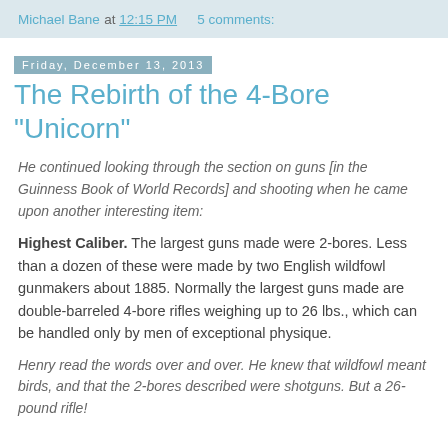Michael Bane at 12:15 PM   5 comments:
Friday, December 13, 2013
The Rebirth of the 4-Bore "Unicorn"
He continued looking through the section on guns [in the Guinness Book of World Records] and shooting when he came upon another interesting item:
Highest Caliber. The largest guns made were 2-bores. Less than a dozen of these were made by two English wildfowl gunmakers about 1885. Normally the largest guns made are double-barreled 4-bore rifles weighing up to 26 lbs., which can be handled only by men of exceptional physique.
Henry read the words over and over. He knew that wildfowl meant birds, and that the 2-bores described were shotguns. But a 26-pound rifle!